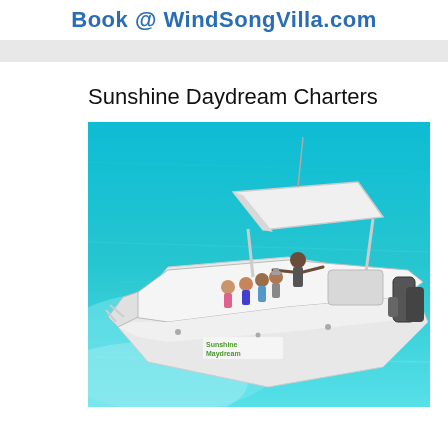Book @ WindSongVilla.com
Sunshine Daydream Charters
[Figure (photo): Aerial view of a white center-console boat named 'Sunshine Daydream' with a group of people aboard, floating on bright turquoise/clear water. The boat has a T-top canopy and outboard motors. Several passengers are posing and a captain stands with arms outstretched.]